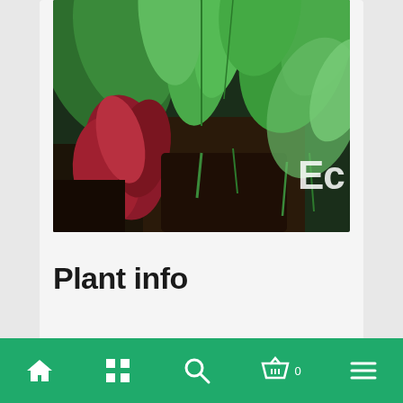[Figure (photo): Photo of plants in soil with large green leaves and red/purple plant in foreground; text 'Ec' visible in lower right corner of image]
Plant info
Type:    Rosulate
Home | Grid | Search | Basket 0 | Menu navigation bar